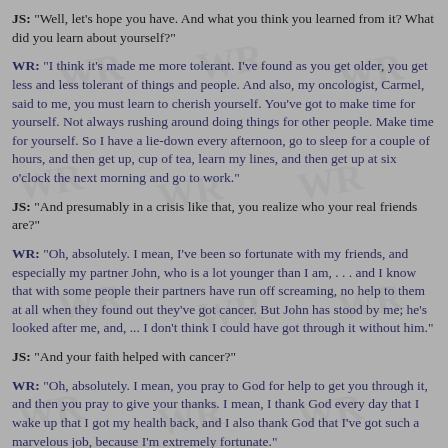JS: "Well, let's hope you have. And what you think you learned from it? What did you learn about yourself?"
WR: "I think it's made me more tolerant. I've found as you get older, you get less and less tolerant of things and people. And also, my oncologist, Carmel, said to me, you must learn to cherish yourself. You've got to make time for yourself. Not always rushing around doing things for other people. Make time for yourself. So I have a lie-down every afternoon, go to sleep for a couple of hours, and then get up, cup of tea, learn my lines, and then get up at six o'clock the next morning and go to work."
JS: "And presumably in a crisis like that, you realize who your real friends are?"
WR: "Oh, absolutely. I mean, I've been so fortunate with my friends, and especially my partner John, who is a lot younger than I am, . . . and I know that with some people their partners have run off screaming, no help to them at all when they found out they've got cancer. But John has stood by me; he's looked after me, and, ... I don't think I could have got through it without him."
JS: "And your faith helped with cancer?"
WR: "Oh, absolutely. I mean, you pray to God for help to get you through it, and then you pray to give your thanks. I mean, I thank God every day that I wake up that I got my health back, and I also thank God that I've got such a marvelous job, because I'm extremely fortunate."